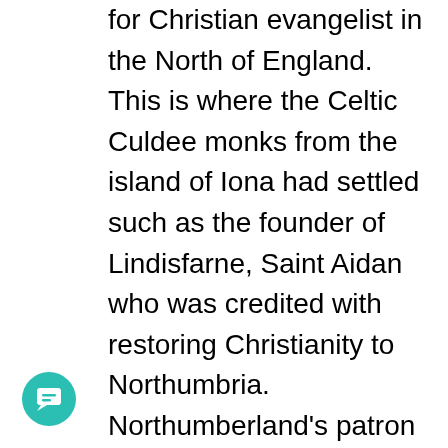for Christian evangelist in the North of England. This is where the Celtic Culdee monks from the island of Iona had settled such as the founder of Lindisfarne, Saint Aidan who was credited with restoring Christianity to Northumbria. Northumberland's patron saint and Bishop of Lindisfarne, Saint Cuthbert, was a monk and later abbot of the monastery, and his miracles and life are recorded by the Venerable Bede.
In Bede's time, the church in England and France under the unified Catholic banner